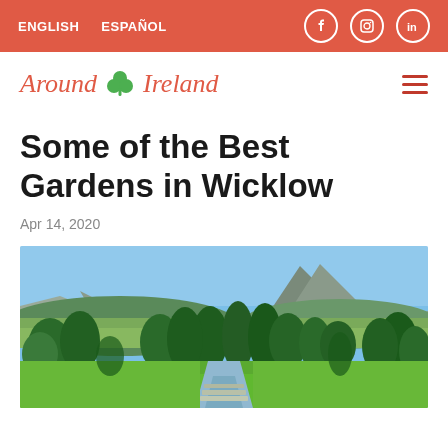ENGLISH   ESPAÑOL
Around Ireland
Some of the Best Gardens in Wicklow
Apr 14, 2020
[Figure (photo): Panoramic landscape photo of Wicklow gardens with lush green trees, a formal water canal path leading toward hills and mountains under a blue sky — likely Powerscourt Estate gardens]